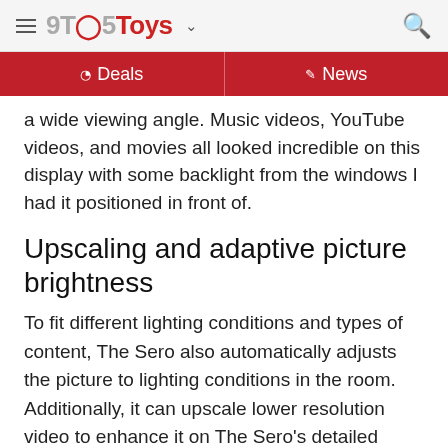9TO5Toys
Deals | News
a wide viewing angle. Music videos, YouTube videos, and movies all looked incredible on this display with some backlight from the windows I had it positioned in front of.
Upscaling and adaptive picture brightness
To fit different lighting conditions and types of content, The Sero also automatically adjusts the picture to lighting conditions in the room. Additionally, it can upscale lower resolution video to enhance it on The Sero's detailed display.
[Figure (photo): Photo of a Samsung Sero TV displaying the Apple TV app interface with a silhouette of a person with arms raised, positioned in front of a window with green foliage outside.]